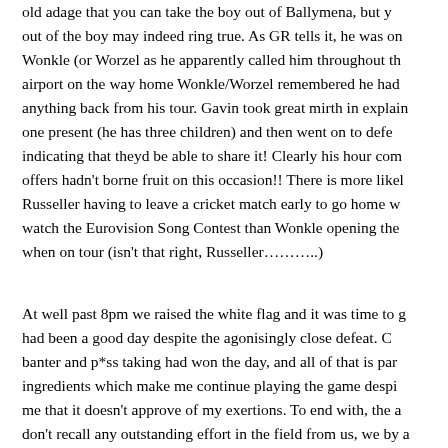old adage that you can take the boy out of Ballymena, but you out of the boy may indeed ring true. As GR tells it, he was on Wonkle (or Worzel as he apparently called him throughout th airport on the way home Wonkle/Worzel remembered he had anything back from his tour. Gavin took great mirth in explain one present (he has three children) and then went on to defe indicating that theyd be able to share it! Clearly his hour com offers hadn't borne fruit on this occasion!! There is more likel Russeller having to leave a cricket match early to go home w watch the Eurovision Song Contest than Wonkle opening the when on tour (isn't that right, Russeller………..)
At well past 8pm we raised the white flag and it was time to g had been a good day despite the agonisingly close defeat. C banter and p*ss taking had won the day, and all of that is par ingredients which make me continue playing the game despi me that it doesn't approve of my exertions. To end with, the a don't recall any outstanding effort in the field from us, we by chances and fielded tidily, if unspectacularly, so this week's J